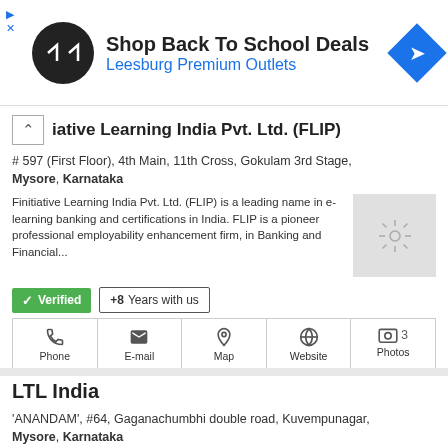[Figure (infographic): Advertisement banner: Shop Back To School Deals - Leesburg Premium Outlets, with round black logo and blue diamond navigation icon]
iative Learning India Pvt. Ltd. (FLIP)
# 597 (First Floor), 4th Main, 11th Cross, Gokulam 3rd Stage, Mysore, Karnataka
Finitiative Learning India Pvt. Ltd. (FLIP) is a leading name in e-learning banking and certifications in India. FLIP is a pioneer professional employability enhancement firm, in Banking and Financial...
Verified   +8  Years with us
Phone   E-mail   Map   Website   3 Photos
LTL India
'ANANDAM', #64, Gaganachumbhi double road, Kuvempunagar, Mysore, Karnataka